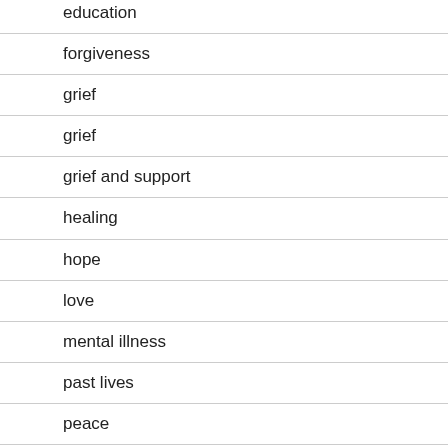education
forgiveness
grief
grief
grief and support
healing
hope
love
mental illness
past lives
peace
prayers and blessings